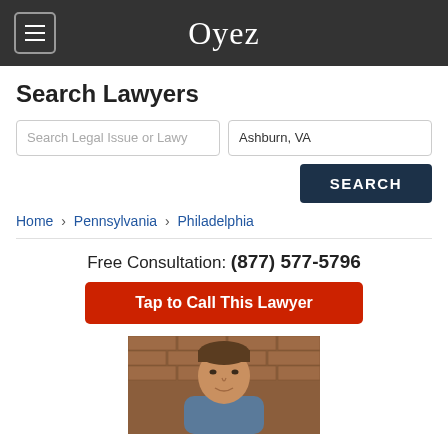Oyez
Search Lawyers
Search Legal Issue or Lawy | Ashburn, VA
SEARCH
Home › Pennsylvania › Philadelphia
Free Consultation: (877) 577-5796
Tap to Call This Lawyer
[Figure (photo): Headshot of a lawyer against a brick wall background]